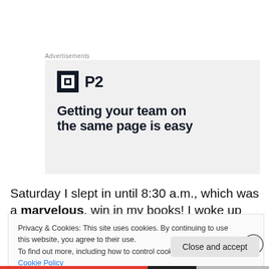Advertisements
[Figure (other): Advertisement for P2 with logo and headline 'Getting your team on the same page is easy']
Saturday I slept in until 8:30 a.m., which was a marvelous, win in my books! I woke up intending to study but received a text message from Chelsea asking if she
Privacy & Cookies: This site uses cookies. By continuing to use this website, you agree to their use.
To find out more, including how to control cookies, see here: Cookie Policy
Close and accept